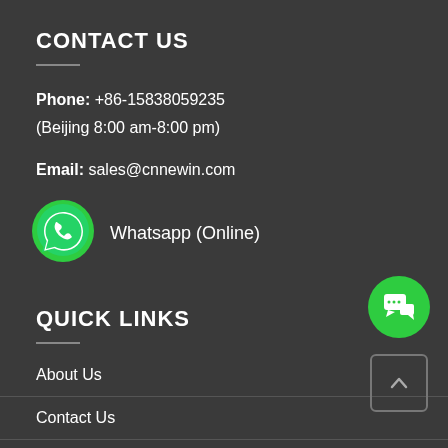CONTACT US
Phone: +86-15838059235
(Beijing 8:00 am-8:00 pm)
Email: sales@cnnewin.com
[Figure (logo): WhatsApp green icon with phone handset]
Whatsapp (Online)
QUICK LINKS
About Us
Contact Us
Product
[Figure (other): Green circular chat button]
[Figure (other): Back to top square button with upward caret]